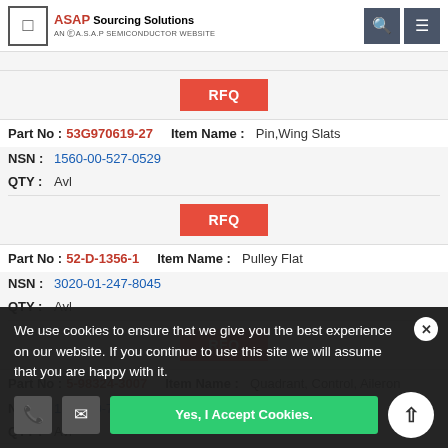ASAP Sourcing Solutions — AN A.S.A.P SEMICONDUCTOR WEBSITE
| Part No | Item Name | NSN | QTY |
| --- | --- | --- | --- |
| 53G970619-27 | Pin,Wing Slats | 1560-00-527-0529 | Avl |
| 52-D-1356-1 | Pulley Flat | 3020-01-247-8045 | Avl |
| 5-98324-3007 | Quadrant, Control, Aileron | 1560-00-735-8269 | Avl |
We use cookies to ensure that we give you the best experience on our website. If you continue to use this site we will assume that you are happy with it.